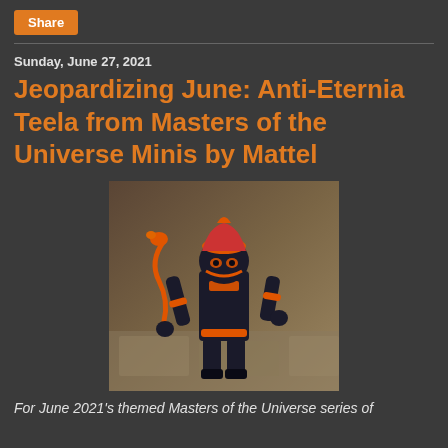Share
Sunday, June 27, 2021
Jeopardizing June: Anti-Eternia Teela from Masters of the Universe Minis by Mattel
[Figure (photo): A small orange and black action figure of Anti-Eternia Teela from Masters of the Universe Minis by Mattel, holding an orange snake staff, photographed against a stone/wood background.]
For June 2021's themed Masters of the Universe series of